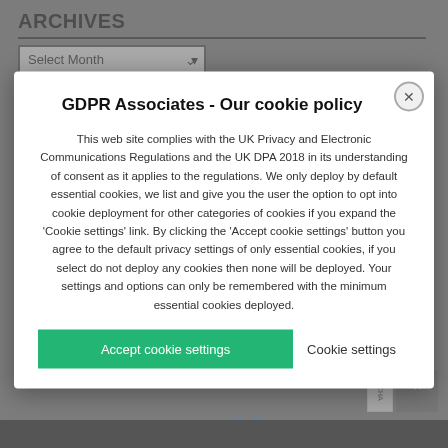ARCHIVES
CATEGORIES
GDPR Associates - Our cookie policy
This web site complies with the UK Privacy and Electronic Communications Regulations and the UK DPA 2018 in its understanding of consent as it applies to the regulations. We only deploy by default essential cookies, we list and give you the user the option to opt into cookie deployment for other categories of cookies if you expand the 'Cookie settings' link. By clicking the 'Accept cookie settings' button you agree to the default privacy settings of only essential cookies, if you select do not deploy any cookies then none will be deployed. Your settings and options can only be remembered with the minimum essential cookies deployed.
Accept cookie settings
Cookie settings
General Data Protection Regulation (GDPR) ICO personal data privacy